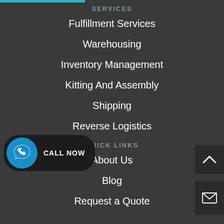SERVICES
Fulfillment Services
Warehousing
Inventory Management
Kitting And Assembly
Shipping
Reverse Logistics
QUICK LINKS
About Us
Blog
Request a Quote
[Figure (other): Call Now button with phone icon on blue circle and dark pill-shaped background]
[Figure (other): Scroll to top chevron button, dark background]
[Figure (other): Email envelope icon button, dark background]